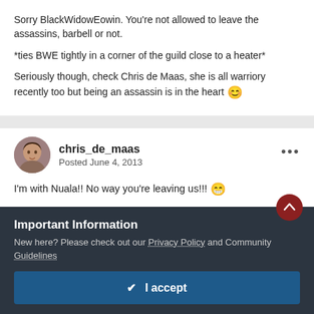Sorry BlackWidowEowin. You're not allowed to leave the assassins, barbell or not.
*ties BWE tightly in a corner of the guild close to a heater*
Seriously though, check Chris de Maas, she is all warriory recently too but being an assassin is in the heart 😊
chris_de_maas
Posted June 4, 2013
I'm with Nuala!! No way you're leaving us!!! 😁
Important Information
New here? Please check out our Privacy Policy and Community Guidelines
✔ I accept